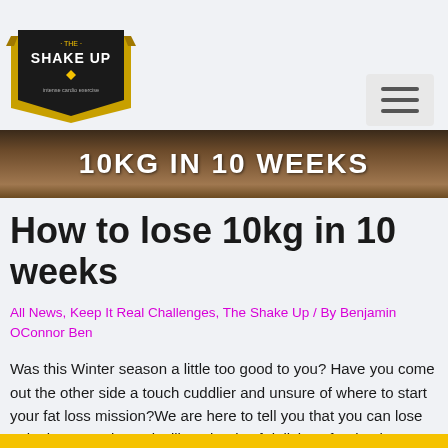[Figure (logo): The Shake Up logo badge — black shield shape with gold ribbon banner, text 'THE SHAKE UP' and subtitle 'intense cardio exercise']
[Figure (other): Hamburger menu icon button (three horizontal lines) in a light grey rounded rectangle, top-right of header]
[Figure (photo): Dark brown textured banner image with bold white text '10KG IN 10 WEEKS']
How to lose 10kg in 10 weeks
All News, Keep It Real Challenges, The Shake Up / By Benjamin OConnor Ben
Was this Winter season a little too good to you? Have you come out the other side a touch cuddlier and unsure of where to start your fat loss mission?We are here to tell you that you can lose 10kg in 10 weeks and still eat loads of delicious foods!The Shake UP has been helping …
Read More »